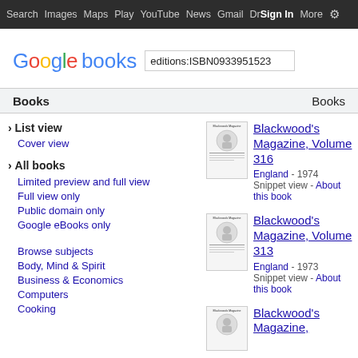Search  Images  Maps  Play  YouTube  News  Gmail  Drive  More  Sign in  Settings
[Figure (logo): Google books logo with search input showing editions:ISBN0933951523]
Books
› List view
Cover view
› All books
Limited preview and full view
Full view only
Public domain only
Google eBooks only
Browse subjects
Body, Mind & Spirit
Business & Economics
Computers
Cooking
Blackwood's Magazine, Volume 316 — England - 1974 — Snippet view - About this book
Blackwood's Magazine, Volume 313 — England - 1973 — Snippet view - About this book
Blackwood's Magazine,